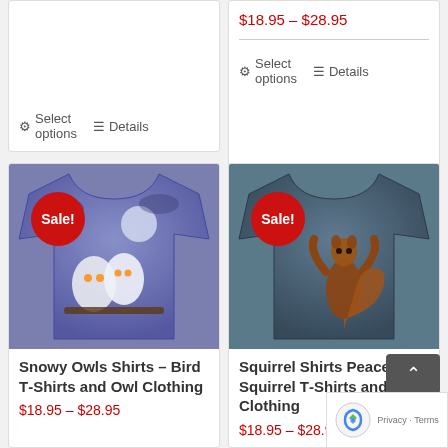⚙ Select options   ☰ Details
$18.95 – $28.95
⚙ Select options   ☰ Details
[Figure (photo): Purple t-shirt with snowy owls design, moonlit night scene. Red 'Sale!' badge in top-left corner.]
Snowy Owls Shirts – Bird T-Shirts and Owl Clothing
$18.95 – $28.95
[Figure (photo): Dark teal/blue t-shirt with a squirrel rearing up on hind legs design. Red 'Sale!' badge in top-left corner.]
Squirrel Shirts Peace – Squirrel T-Shirts and Clothing
$18.95 – $28.95